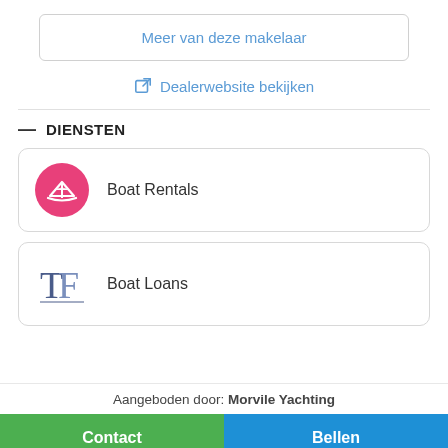Meer van deze makelaar
Dealerwebsite bekijken
— DIENSTEN
Boat Rentals
Boat Loans
Aangeboden door: Morvile Yachting
Contact
Bellen